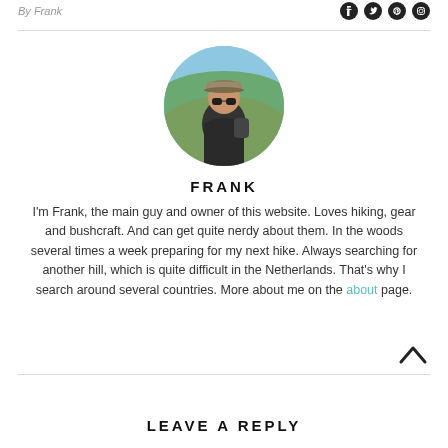By Frank
[Figure (photo): Circular profile photo of a man wearing sunglasses and a cap, outdoors with blue sky and green hills in the background]
FRANK
I'm Frank, the main guy and owner of this website. Loves hiking, gear and bushcraft. And can get quite nerdy about them. In the woods several times a week preparing for my next hike. Always searching for another hill, which is quite difficult in the Netherlands. That's why I search around several countries. More about me on the about page.
LEAVE A REPLY